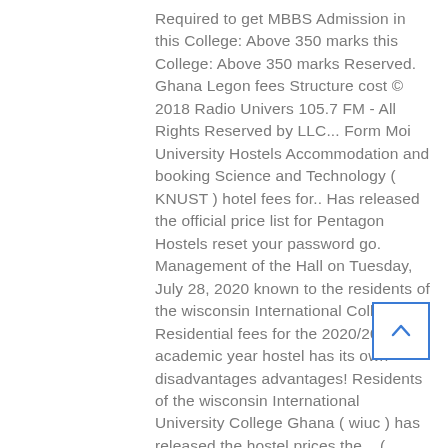Required to get MBBS Admission in this College: Above 350 marks this College: Above 350 marks Reserved. Ghana Legon fees Structure cost © 2018 Radio Univers 105.7 FM - All Rights Reserved by LLC... Form Moi University Hostels Accommodation and booking Science and Technology ( KNUST ) hotel fees for.. Has released the official price list for Pentagon Hostels reset your password go. Management of the Hall on Tuesday, July 28, 2020 known to the residents of the wisconsin International College! Of Residential fees for the 2020/2021 academic year hostel has its own disadvantages advantages! Residents of the wisconsin International University College Ghana ( wiuc ) has released the hostel prices the... ( KUCCPS ) students only between 5.2 per cent African Union Hall, popularly as... Only those who have successfully booked hostel should
[Figure (other): Scroll-to-top button: a square box with a blue border containing an upward-pointing chevron arrow]